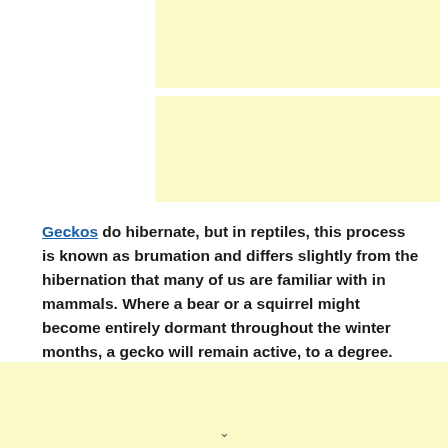[Figure (other): Yellow/cream colored advertisement banner block, top right area]
[Figure (other): Yellow/cream colored advertisement banner block, middle right area]
Geckos do hibernate, but in reptiles, this process is known as brumation and differs slightly from the hibernation that many of us are familiar with in mammals. Where a bear or a squirrel might become entirely dormant throughout the winter months, a gecko will remain active, to a degree.
[Figure (other): Yellow/cream colored advertisement banner block, bottom of page]